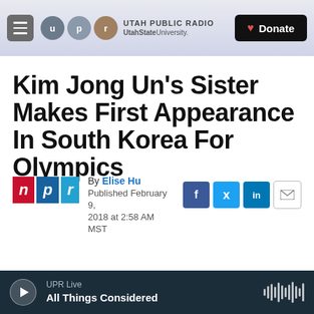Utah Public Radio | Utah State University | Donate
Kim Jong Un's Sister Makes First Appearance In South Korea For Olympics
By Elise Hu
Published February 9, 2018 at 2:58 AM MST
[Figure (photo): NPR logo and social sharing icons (Facebook, Twitter, LinkedIn, Email)]
[Figure (photo): Photo showing people's faces, partially cropped at bottom of article]
UPR Live · All Things Considered